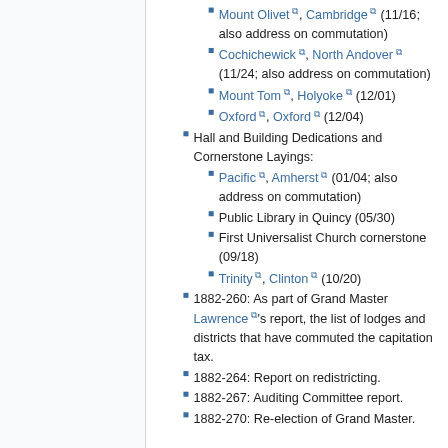Mount Olivet, Cambridge (11/16; also address on commutation)
Cochichewick, North Andover (11/24; also address on commutation)
Mount Tom, Holyoke (12/01)
Oxford, Oxford (12/04)
Hall and Building Dedications and Cornerstone Layings:
Pacific, Amherst (01/04; also address on commutation)
Public Library in Quincy (05/30)
First Universalist Church cornerstone (09/18)
Trinity, Clinton (10/20)
1882-260: As part of Grand Master Lawrence's report, the list of lodges and districts that have commuted the capitation tax.
1882-264: Report on redistricting.
1882-267: Auditing Committee report.
1882-270: Re-election of Grand Master.